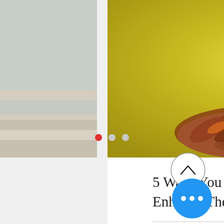[Figure (photo): Partial view of a beach scene on the left side of the screen]
[Figure (photo): A puppy sitting in a pile of autumn leaves holding a red ball, with a yellow/green background]
[Figure (photo): Partial view of a grey couch/furniture on the right side of the screen]
5 Ways You Can Enhance The Wellbein...
0 views, 0 comments, like button (heart icon)
[Figure (infographic): Carousel navigation dots: first dot is red/active, second and third are grey]
[Figure (infographic): Up arrow button in a circle]
[Figure (infographic): Blue circle with three white dots (more options button)]